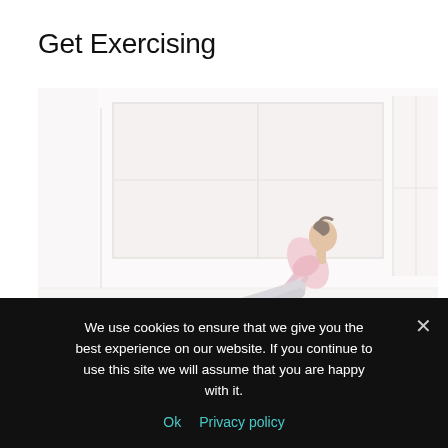Get Exercising
[Figure (photo): A woman in athletic wear performing a yoga or pilates pose (upward-facing dog or similar) in a bright, airy gym studio with large windows. The image is very bright and washed out with a white/light background.]
We use cookies to ensure that we give you the best experience on our website. If you continue to use this site we will assume that you are happy with it.
Ok   Privacy policy